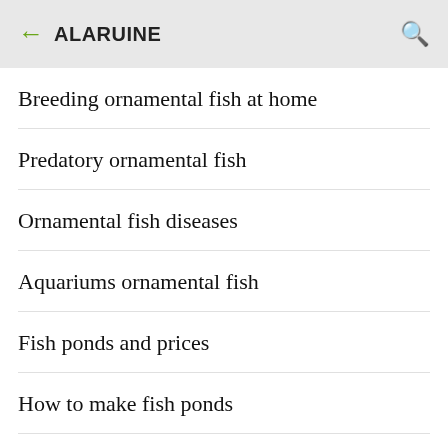← ALARUINE
Breeding ornamental fish at home
Predatory ornamental fish
Ornamental fish diseases
Aquariums ornamental fish
Fish ponds and prices
How to make fish ponds
Aquariums f…